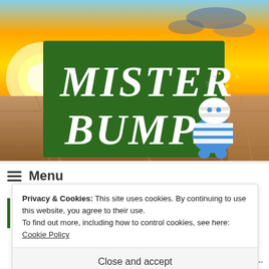[Figure (screenshot): Website header banner with sunset/desert landscape background. Green rectangle overlay contains white stylized text 'MISTER BUMP' with a cartoon blue bandaged character on the right side with yellow stars above its head.]
≡  Menu
Privacy & Cookies: This site uses cookies. By continuing to use this website, you agree to their use.
To find out more, including how to control cookies, see here: Cookie Policy
Close and accept
Follow